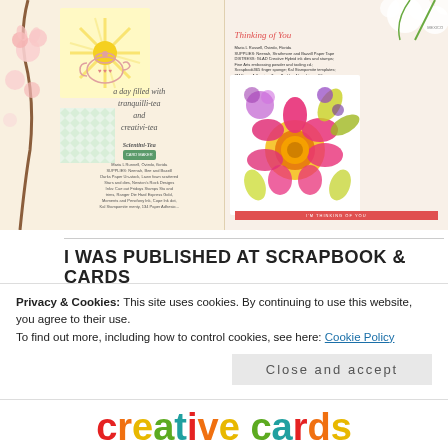[Figure (photo): Magazine spread showing two handmade greeting cards. Left page features a tea-themed card with sun rays, teapot illustration, and cursive text 'a day filled with tranquilli-tea and creativi-tea'. Right page shows a floral stamp card titled 'Thinking of You' with colorful flower illustration and text 'I'm thinking of you'. Pink cherry blossoms frame the spread.]
I WAS PUBLISHED AT SCRAPBOOK & CARDS
Privacy & Cookies: This site uses cookies. By continuing to use this website, you agree to their use.
To find out more, including how to control cookies, see here: Cookie Policy
Close and accept
creative cards